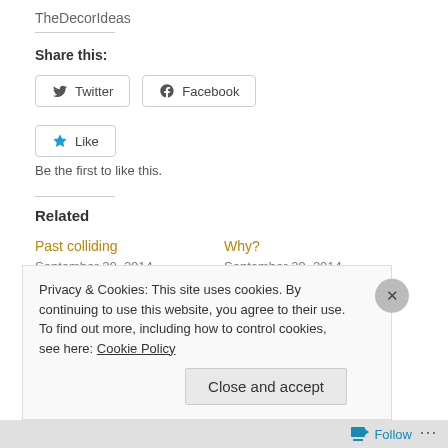TheDecorIdeas
Share this:
Twitter  Facebook
Like
Be the first to like this.
Related
Past colliding
September 20, 2014
Why?
September 29, 2014
Thankful Part 1
Privacy & Cookies: This site uses cookies. By continuing to use this website, you agree to their use.
To find out more, including how to control cookies, see here: Cookie Policy
Close and accept
Follow ...